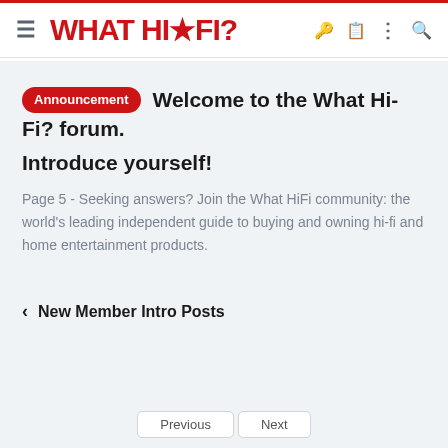WHAT HI-FI?
Announcement Welcome to the What Hi-Fi? forum. Introduce yourself!
Page 5 - Seeking answers? Join the What HiFi community: the world's leading independent guide to buying and owning hi-fi and home entertainment products.
< New Member Intro Posts